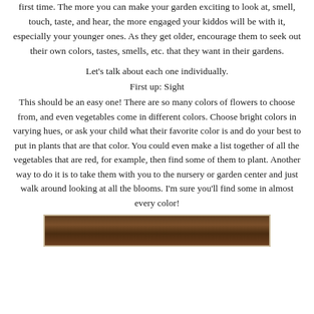maybe because they are experiencing some of them for the first time. The more you can make your garden exciting to look at, smell, touch, taste, and hear, the more engaged your kiddos will be with it, especially your younger ones. As they get older, encourage them to seek out their own colors, tastes, smells, etc. that they want in their gardens.
Let's talk about each one individually.
First up: Sight
This should be an easy one! There are so many colors of flowers to choose from, and even vegetables come in different colors. Choose bright colors in varying hues, or ask your child what their favorite color is and do your best to put in plants that are that color. You could even make a list together of all the vegetables that are red, for example, then find some of them to plant. Another way to do it is to take them with you to the nursery or garden center and just walk around looking at all the blooms. I'm sure you'll find some in almost every color!
[Figure (photo): A wooden surface or wooden plank background, partially visible at the bottom of the page, with a light border frame.]